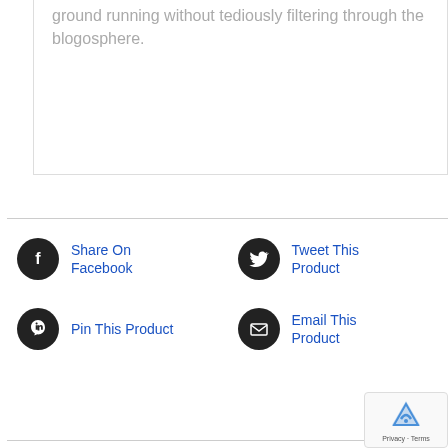ground running without tediously filtering through the blogosphere.
Share On Facebook
Tweet This Product
Pin This Product
Email This Product